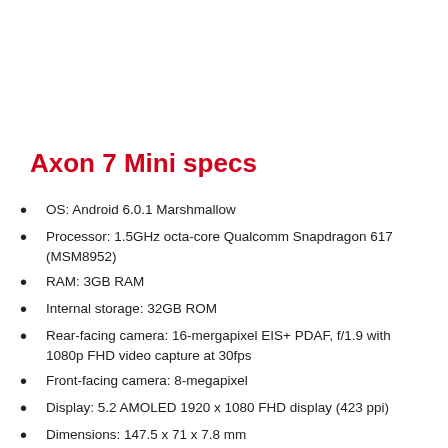Axon 7 Mini specs
OS: Android 6.0.1 Marshmallow
Processor: 1.5GHz octa-core Qualcomm Snapdragon 617 (MSM8952)
RAM: 3GB RAM
Internal storage: 32GB ROM
Rear-facing camera: 16-mergapixel EIS+ PDAF, f/1.9 with 1080p FHD video capture at 30fps
Front-facing camera: 8-megapixel
Display: 5.2 AMOLED 1920 x 1080 FHD display (423 ppi)
Dimensions: 147.5 x 71 x 7.8 mm
Battery: 2,750 mAh, nonremoveable with Qualcomm Quick Charge 2.0
Fingerprint scanner: Rear-mounted